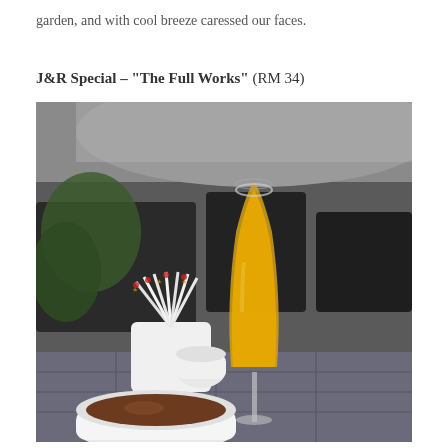garden, and with cool breeze caressed our faces.
J&R Special – “The Full Works” (RM 34)
[Figure (photo): A champagne flute glass filled with orange juice/mimosa, alongside a cup of espresso coffee and a holder with Brown Sugar stir sticks, all placed on a tiled outdoor table with a blurred garden/outdoor seating area in the background.]